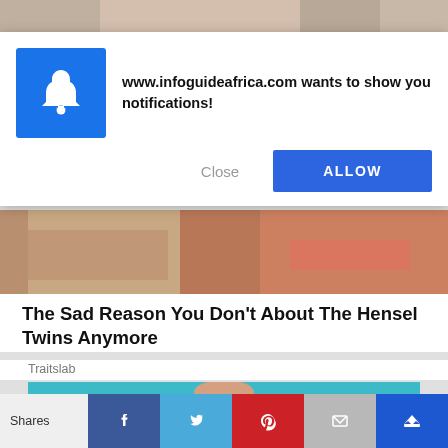[Figure (screenshot): Top strip showing partial photo of two women in swimwear at beach]
[Figure (screenshot): Browser notification dialog with blue bell icon. Text: 'www.infoguideafrica.com wants to show you notifications!' with Close and ALLOW buttons]
[Figure (screenshot): Partial article image showing two women in swimwear cropped at torso]
The Sad Reason You Don't About The Hensel Twins Anymore
Traitslab
[Figure (screenshot): Article image showing woman in blue-green background with hands on chest, wearing blue top with purple nails]
Shares | Facebook | Twitter | Pinterest | Email | Crown/Bookmark